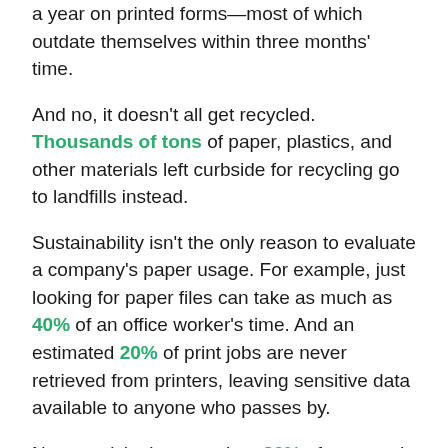a year on printed forms—most of which outdate themselves within three months' time.
And no, it doesn't all get recycled. Thousands of tons of paper, plastics, and other materials left curbside for recycling go to landfills instead.
Sustainability isn't the only reason to evaluate a company's paper usage. For example, just looking for paper files can take as much as 40% of an office worker's time. And an estimated 20% of print jobs are never retrieved from printers, leaving sensitive data available to anyone who passes by.
Not surprisingly, more than 80% of surveyed businesses want to create more paperless workflows and processes. With so many